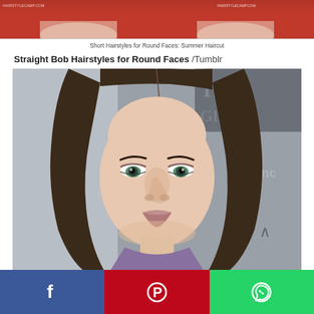[Figure (photo): Two women in red tops, cropped at shoulders, watermark text visible top-left and top-right]
Short Hairstyles for Round Faces: Summer Haircut
Straight Bob Hairstyles for Round Faces /Tumblr
[Figure (photo): Close-up portrait of a woman with straight dark brown bob hairstyle, green eyes, at an event with a backdrop partially visible]
[Figure (infographic): Social sharing bar with Facebook, Pinterest, and WhatsApp buttons]